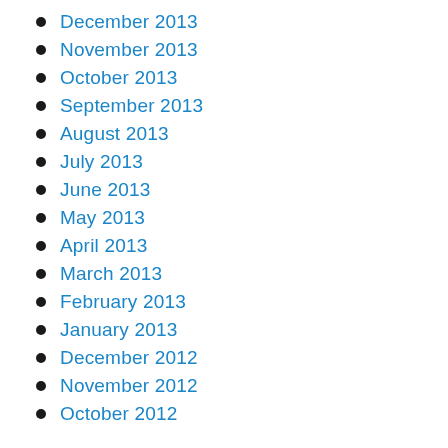December 2013
November 2013
October 2013
September 2013
August 2013
July 2013
June 2013
May 2013
April 2013
March 2013
February 2013
January 2013
December 2012
November 2012
October 2012